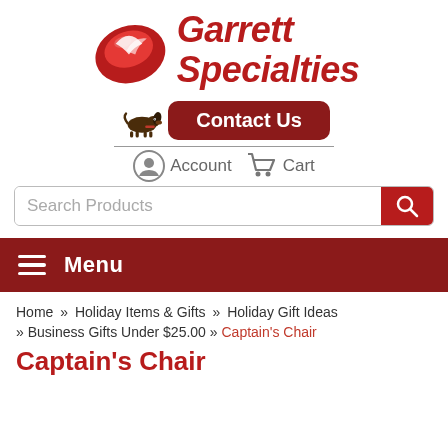[Figure (logo): Garrett Specialties logo with red swirl/bird graphic and italic red text]
[Figure (other): Contact Us button with dachshund dog icon next to a dark red rounded rectangle button saying Contact Us]
[Figure (other): Account and Cart navigation icons with a user silhouette icon and shopping cart icon]
[Figure (other): Search Products input bar with red search button]
Menu
Home » Holiday Items & Gifts » Holiday Gift Ideas
» Business Gifts Under $25.00 » Captain's Chair
Captain's Chair